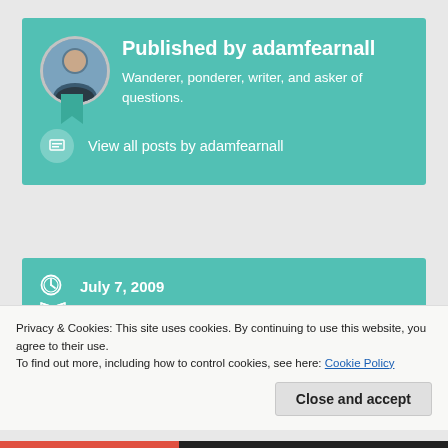Published by adamfearnall
Wanderer, ponderer, writer, and asker of questions.
View all posts by adamfearnall
July 7, 2009
Fort Hope, Travel, Uncategorized
Canada, Eabametoong, First Nations, Fort Hope,
Privacy & Cookies: This site uses cookies. By continuing to use this website, you agree to their use.
To find out more, including how to control cookies, see here: Cookie Policy
Close and accept